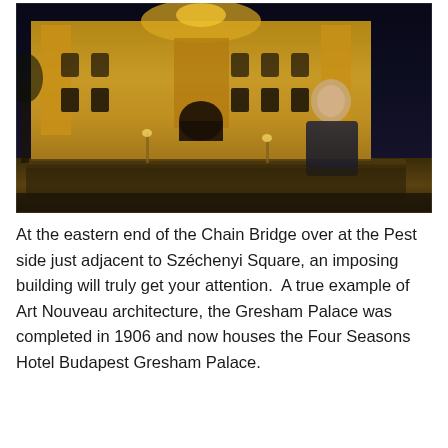[Figure (photo): Nighttime photo of the Gresham Palace in Budapest, illuminated with warm golden lights. An ornate Art Nouveau building fills the background. A young man stands in the right foreground wearing a dark jacket, smiling at the camera. Trees and street elements are visible.]
At the eastern end of the Chain Bridge over at the Pest side just adjacent to Széchenyi Square, an imposing building will truly get your attention.  A true example of Art Nouveau architecture, the Gresham Palace was completed in 1906 and now houses the Four Seasons Hotel Budapest Gresham Palace.